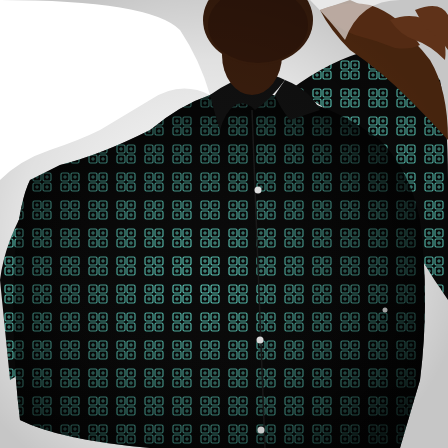[Figure (photo): Close-up photograph of a man wearing a black short-sleeve button-up shirt with a repeating teal/mint geometric pattern (stylized letter-like or icon motifs arranged in a grid). The man is dark-skinned, and his right hand is raised near his collar/shoulder. The background is white. The shirt has visible white buttons on the placket.]